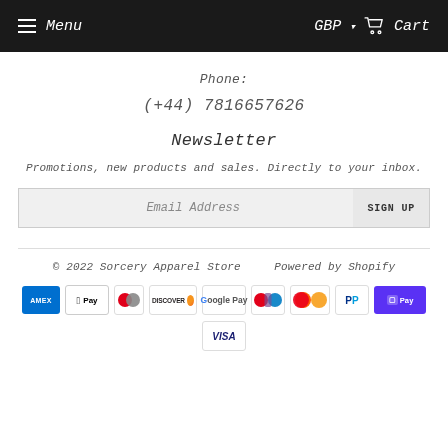Menu  GBP  Cart
Phone:
(+44) 7816657626
Newsletter
Promotions, new products and sales. Directly to your inbox.
Email Address  SIGN UP
© 2022 Sorcery Apparel Store   Powered by Shopify